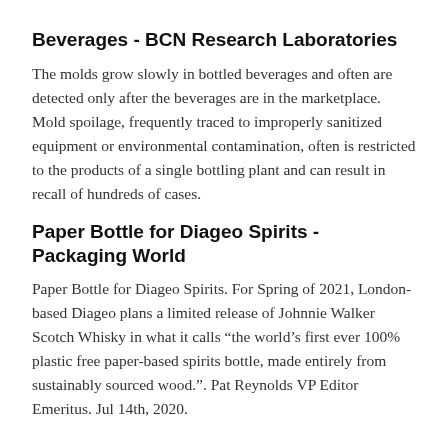Beverages - BCN Research Laboratories
The molds grow slowly in bottled beverages and often are detected only after the beverages are in the marketplace. Mold spoilage, frequently traced to improperly sanitized equipment or environmental contamination, often is restricted to the products of a single bottling plant and can result in recall of hundreds of cases.
Paper Bottle for Diageo Spirits - Packaging World
Paper Bottle for Diageo Spirits. For Spring of 2021, London-based Diageo plans a limited release of Johnnie Walker Scotch Whisky in what it calls “the world’s first ever 100% plastic free paper-based spirits bottle, made entirely from sustainably sourced wood.”. Pat Reynolds VP Editor Emeritus. Jul 14th, 2020.